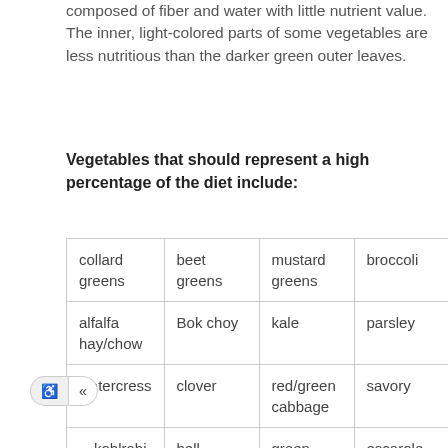composed of fiber and water with little nutrient value. The inner, light-colored parts of some vegetables are less nutritious than the darker green outer leaves.
Vegetables that should represent a high percentage of the diet include:
| collard greens | beet greens | mustard greens | broccoli | turn- gree… |
| alfalfa hay/chow | Bok choy | kale | parsley | Swis- char… |
| watercress | clover | red/green cabbage | savory | cilan… |
| …kohlrabi | bell peppers | green beans | escarole | dan… |